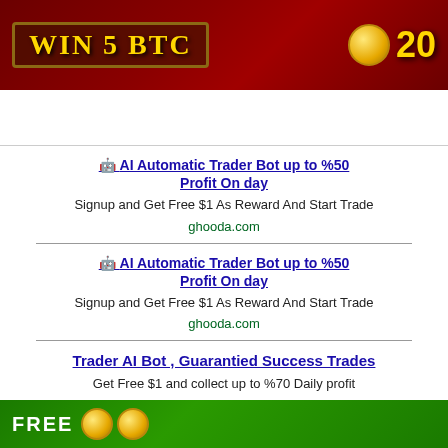[Figure (illustration): Dark red casino/gambling banner with 'WIN 5 BTC' text in gold, decorative border, coin imagery, and number 20 in yellow on the right side]
🤖 AI Automatic Trader Bot up to %50 Profit On day
Signup and Get Free $1 As Reward And Start Trade
ghooda.com
🤖 AI Automatic Trader Bot up to %50 Profit On day
Signup and Get Free $1 As Reward And Start Trade
ghooda.com
Trader AI Bot , Guarantied Success Trades
Get Free $1 and collect up to %70 Daily profit
ghooda.com
[Figure (illustration): Green promotional banner with coin imagery and 'FREE' text visible, partially shown at bottom]